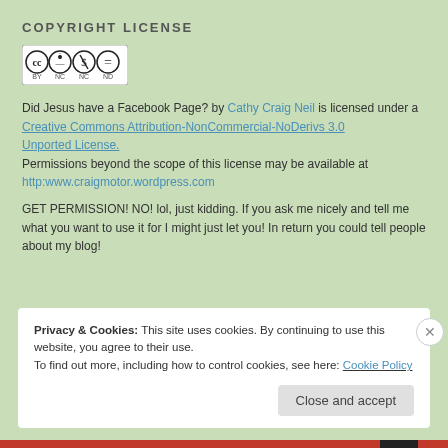COPYRIGHT LICENSE
[Figure (logo): Creative Commons license badge showing BY NC ND icons]
Did Jesus have a Facebook Page? by Cathy Craig Neil is licensed under a Creative Commons Attribution-NonCommercial-NoDerivs 3.0 Unported License. Permissions beyond the scope of this license may be available at http:www.craigmotor.wordpress.com
GET PERMISSION! NO! lol, just kidding. If you ask me nicely and tell me what you want to use it for I might just let you! In return you could tell people about my blog!
Privacy & Cookies: This site uses cookies. By continuing to use this website, you agree to their use. To find out more, including how to control cookies, see here: Cookie Policy